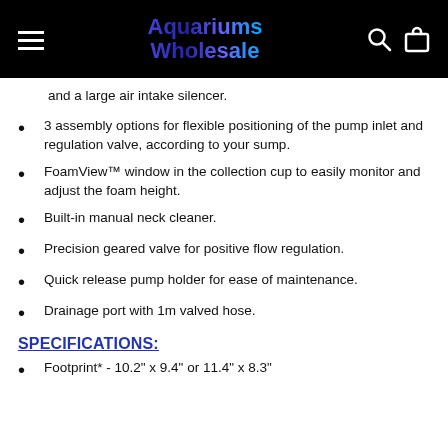Aquariums Wholesale
and a large air intake silencer.
3 assembly options for flexible positioning of the pump inlet and regulation valve, according to your sump.
FoamView™ window in the collection cup to easily monitor and adjust the foam height.
Built-in manual neck cleaner.
Precision geared valve for positive flow regulation.
Quick release pump holder for ease of maintenance.
Drainage port with 1m valved hose.
SPECIFICATIONS:
Footprint* - 10.2" x 9.4" or 11.4" x 8.3"